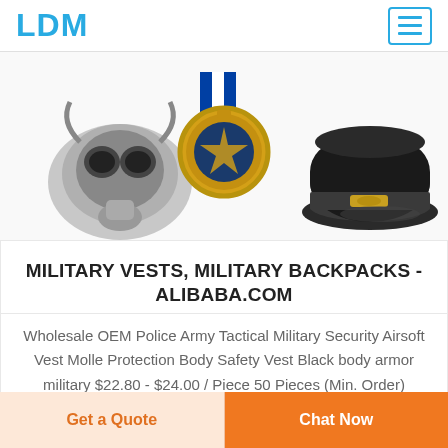LDM
[Figure (photo): Three military/police items: a gas mask on the left, a police/military medal in the center, and a military officer cap on the right, displayed on a white background.]
MILITARY VESTS, MILITARY BACKPACKS - ALIBABA.COM
Wholesale OEM Police Army Tactical Military Security Airsoft Vest Molle Protection Body Safety Vest Black body armor military $22.80 - $24.00 / Piece 50 Pieces (Min. Order)
Get a Quote
Chat Now